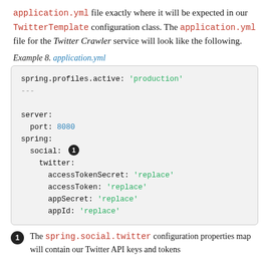application.yml file exactly where it will be expected in our TwitterTemplate configuration class. The application.yml file for the Twitter Crawler service will look like the following.
Example 8. application.yml
[Figure (screenshot): Code block showing a YAML configuration file with spring.profiles.active: 'production', server port 8080, and spring.social.twitter credentials (accessTokenSecret, accessToken, appSecret, appId) all set to 'replace'. A callout badge '1' appears next to 'social:'.]
1 The spring.social.twitter configuration properties map will contain our Twitter API keys and tokens